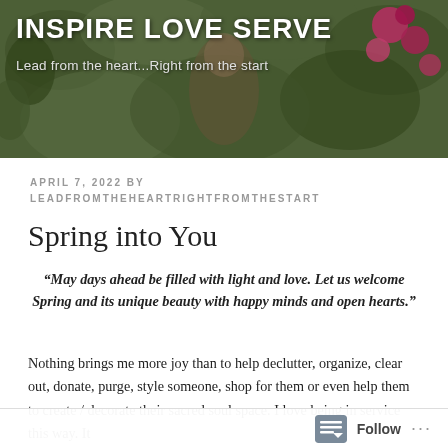[Figure (photo): Header photo showing a garden/floral background with green foliage and pink flowers, with white text overlay]
INSPIRE LOVE SERVE
Lead from the heart...Right from the start
APRIL 7, 2022 BY LEADFROMTHEHEARTRIGHTFROMTHESTART
Spring into You
“May days ahead be filled with light and love. Let us welcome Spring and its unique beauty with happy minds and open hearts.”
Nothing brings me more joy than to help declutter, organize, clear out, donate, purge, style someone, shop for them or even help them to create / decorate their sacred soul space. I love being in service this way. It
Follow